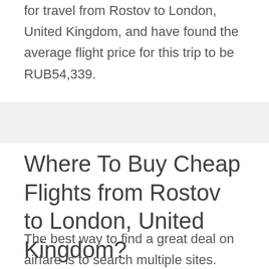for travel from Rostov to London, United Kingdom, and have found the average flight price for this trip to be RUB54,339.
Where To Buy Cheap Flights from Rostov to London, United Kingdom?
The best way to find a great deal on airfare is to search multiple sites. When you run a search on FareCompare, we search multiple sites and fare sources all at once so you don't have to - which is why